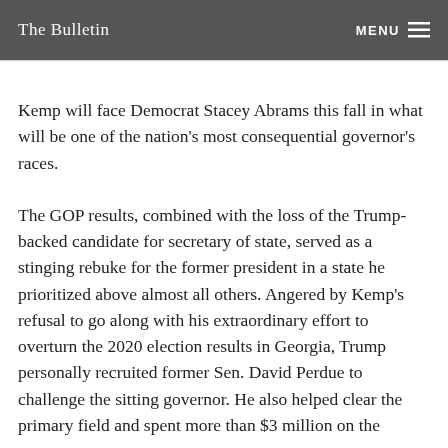The Bulletin
Kemp will face Democrat Stacey Abrams this fall in what will be one of the nation's most consequential governor's races.
The GOP results, combined with the loss of the Trump-backed candidate for secretary of state, served as a stinging rebuke for the former president in a state he prioritized above almost all others. Angered by Kemp's refusal to go along with his extraordinary effort to overturn the 2020 election results in Georgia, Trump personally recruited former Sen. David Perdue to challenge the sitting governor. He also helped clear the primary field and spent more than $3 million on the